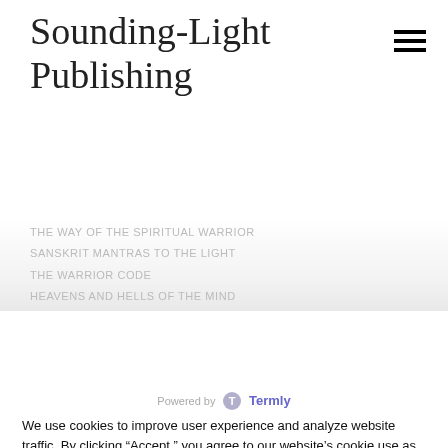Sounding-Light Publishing
THE WAY OF THE SPIRITUAL WARRIOR
SANSKRIT MANTRAS TO THE LIGHT
THE WARRIOR CODE
HEAVENS AND HELLS OF THE MIND
[Figure (logo): Termly logo with text 'Powered by Termly']
We use cookies to improve user experience and analyze website traffic. By clicking “Accept,” you agree to our website’s cookie use as described in our Cookie Policy. You can change your cookie settings at any time by clicking “Preferences.”
Decline
Accept
Preferences